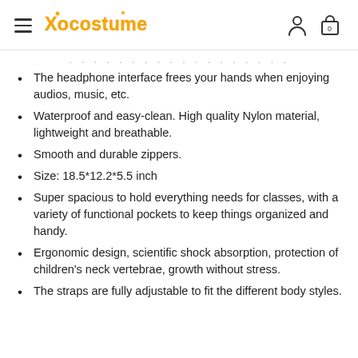Xocostume — navigation header with hamburger menu and cart icon
The headphone interface frees your hands when enjoying audios, music, etc.
Waterproof and easy-clean. High quality Nylon material, lightweight and breathable.
Smooth and durable zippers.
Size: 18.5*12.2*5.5 inch
Super spacious to hold everything needs for classes, with a variety of functional pockets to keep things organized and handy.
Ergonomic design, scientific shock absorption, protection of children's neck vertebrae, growth without stress.
The straps are fully adjustable to fit the different body styles.